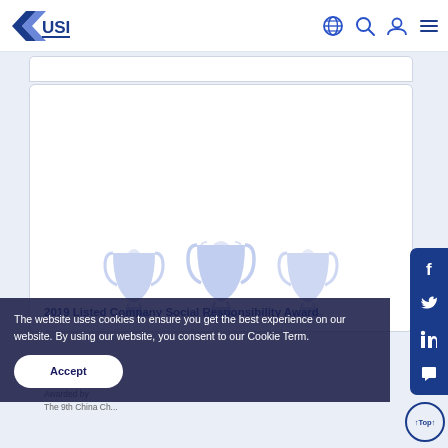[Figure (logo): USI company logo — blue chevron/arrow shape with 'USI' text]
[Figure (screenshot): Website navigation bar with globe, search, user, and hamburger menu icons in blue]
[Figure (photo): Large white card area showing award content with trophy watermark images at bottom in light blue]
2019 Listed Company Social Responsibility Award
Awarded by
The 9th China Ch...
The website uses cookies to ensure you get the best experience on our website. By using our website, you consent to our Cookie Term.
Accept